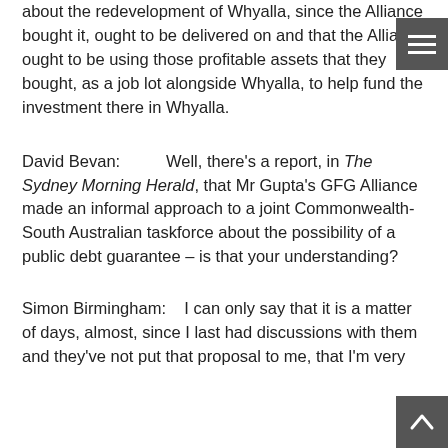about the redevelopment of Whyalla, since the Alliance bought it, ought to be delivered on and that the Alliance ought to be using those profitable assets that they bought, as a job lot alongside Whyalla, to help fund the investment there in Whyalla.
David Bevan:     Well, there's a report, in The Sydney Morning Herald, that Mr Gupta's GFG Alliance made an informal approach to a joint Commonwealth-South Australian taskforce about the possibility of a public debt guarantee – is that your understanding?
Simon Birmingham:    I can only say that it is a matter of days, almost, since I last had discussions with them and they've not put that proposal to me, that I'm very